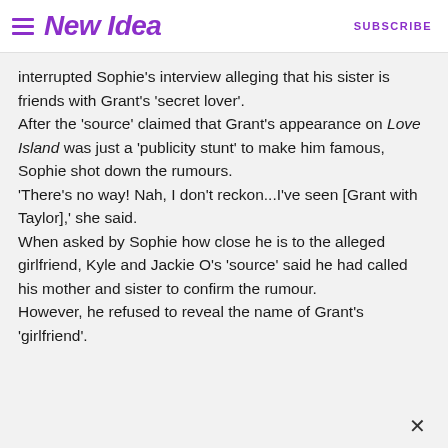New Idea  SUBSCRIBE
interrupted Sophie's interview alleging that his sister is friends with Grant's 'secret lover'.
After the 'source' claimed that Grant's appearance on Love Island was just a 'publicity stunt' to make him famous, Sophie shot down the rumours.
'There's no way! Nah, I don't reckon...I've seen [Grant with Taylor],' she said.
When asked by Sophie how close he is to the alleged girlfriend, Kyle and Jackie O's 'source' said he had called his mother and sister to confirm the rumour.
However, he refused to reveal the name of Grant's 'girlfriend'.